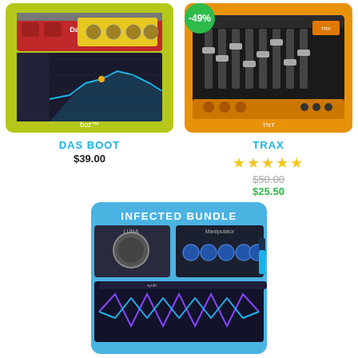[Figure (screenshot): Das Boot plugin product image on yellow-green background]
DAS BOOT
$39.00
[Figure (screenshot): TRAX plugin product image on orange background with -49% discount badge]
TRAX
★★★★★
$50.00
$25.50
[Figure (screenshot): Infected Bundle product image on blue background showing multiple plugin interfaces]